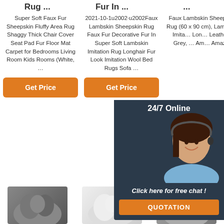Rug ...
Fur In ...
...
Super Soft Faux Fur Sheepskin Fluffy Area Rug Shaggy Thick Chair Cover Seat Pad Fur Floor Mat Carpet for Bedrooms Living Room Kids Rooms (White, …
2021-10-1u2002·u2002Faux Lambskin Sheepskin Rug Faux Fur Decorative Fur In Super Soft Lambskin Imitation Rug Longhair Fur Look Imitation Wool Bed Rugs Sofa …
Faux Lambskin Sheepskin Rug (60 x 90 cm), Lambskin Imita… Lon… Leathe… Grey, … Am… Amaz…
[Figure (other): Get Price orange button - column 1]
[Figure (other): Get Price orange button - column 2]
[Figure (other): 24/7 Online chat popup with agent photo, Click here for free chat, QUOTATION button]
[Figure (other): TOP scroll button with orange arrow dots icon]
[Figure (photo): Three fur/fleece product images at the bottom - dark grey, white/cream, medium grey]